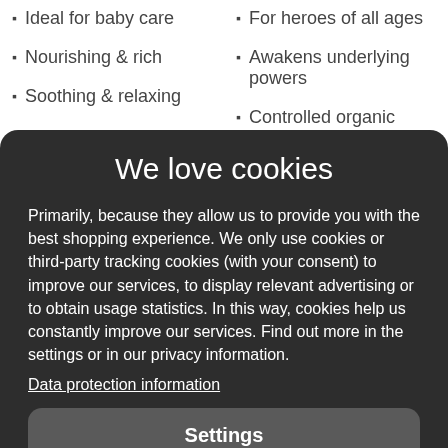Ideal for baby care
Nourishing & rich
Soothing & relaxing
For heroes of all ages
Awakens underlying powers
Controlled organic agriculture …
We love cookies
Primarily, because they allow us to provide you with the best shopping experience. We only use cookies or third-party tracking cookies (with your consent) to improve our services, to display relevant advertising or to obtain usage statistics. In this way, cookies help us constantly improve our services. Find out more in the settings or in our privacy information.
Data protection information
Settings
Reject all
Accept all